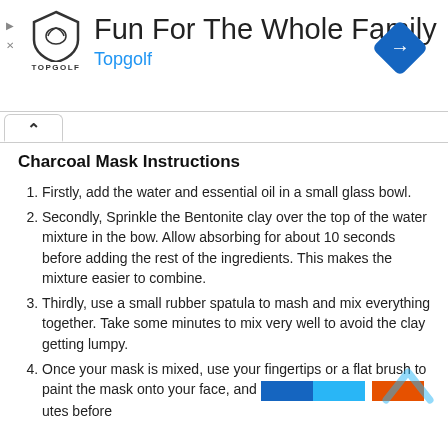[Figure (other): Topgolf advertisement banner with shield logo, 'Fun For The Whole Family' headline, 'Topgolf' subtitle in blue, and blue diamond navigation icon on the right]
Charcoal Mask Instructions
Firstly, add the water and essential oil in a small glass bowl.
Secondly, Sprinkle the Bentonite clay over the top of the water mixture in the bow. Allow absorbing for about 10 seconds before adding the rest of the ingredients. This makes the mixture easier to combine.
Thirdly, use a small rubber spatula to mash and mix everything together. Take some minutes to mix very well to avoid the clay getting lumpy.
Once your mask is mixed, use your fingertips or a flat brush to paint the mask onto your face, and [color bar] utes before